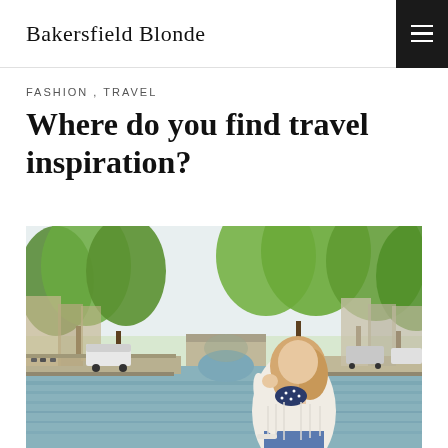Bakersfield Blonde
FASHION , TRAVEL
Where do you find travel inspiration?
[Figure (photo): Blonde woman in cream sweater and navy polka-dot scarf standing beside an Amsterdam canal, with green tree-lined streets, parked bicycles and cars, and a stone bridge visible in the background.]